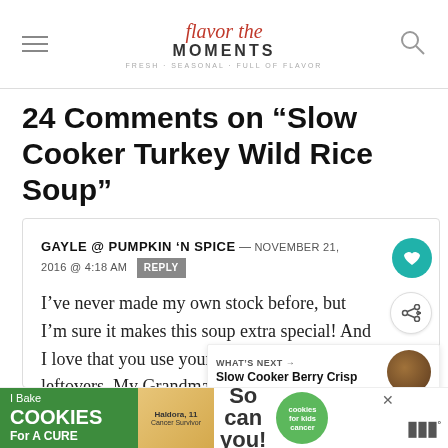flavor the MOMENTS — Fresh Seasonal Food At Flavor
24 Comments on “Slow Cooker Turkey Wild Rice Soup”
GAYLE @ PUMPKIN 'N SPICE — NOVEMBER 21, 2016 @ 4:18 AM REPLY

I've never made my own stock before, but I'm sure it makes this soup extra special! And I love that you use your turkey in soup for leftovers. My Grandma used to do the same and it was delicious. This looks just perfect,
[Figure (other): Slow Cooker Berry Crisp thumbnail image - circular food photo]
[Figure (other): Advertisement banner: I Bake COOKIES For A CURE - Haldora, 11 Cancer Survivor - So can you! - cookies for kids cancer]